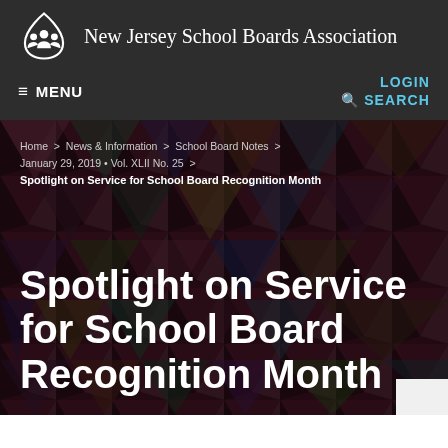New Jersey School Boards Association
≡ MENU
LOGIN  🔍 SEARCH
Home > News & Information > School Board Notes > January 29, 2019 • Vol. XLII No. 25 > Spotlight on Service for School Board Recognition Month
Spotlight on Service for School Board Recognition Month
In December, the New Jersey School Boards Association asked